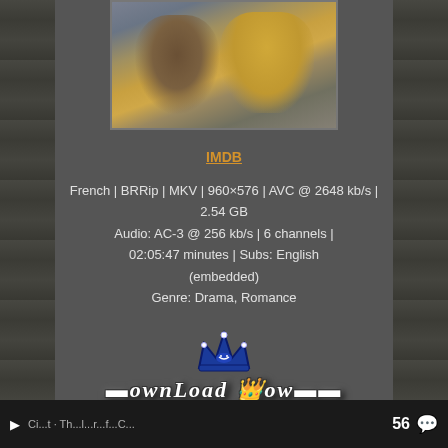[Figure (photo): Movie still showing an older bearded man in a brown jacket and a younger woman in a yellow jacket, outdoors with a building in the background]
IMDB
French | BRRip | MKV | 960×576 | AVC @ 2648 kb/s | 2.54 GB
Audio: AC-3 @ 256 kb/s | 6 channels | 02:05:47 minutes | Subs: English (embedded)
Genre: Drama, Romance
[Figure (logo): DownLoad Now logo with blue crown icon above stylized grunge-font text reading DownLoad Now]
56